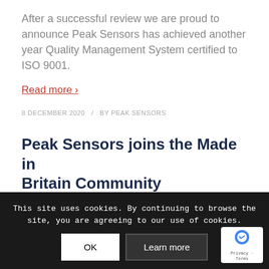After a successful review we are proud to announce Peak Sensors has achieved another year Quality Management System certified to ISO 9001.
Read more ›
8 DECEMBER 2020   /   BY PEAK SENSORS
Peak Sensors joins the Made in Britain Community
Read more
Peak Sensors ... join Made in Britain ... become a member of the British...
This site uses cookies. By continuing to browse the site, you are agreeing to our use of cookies.